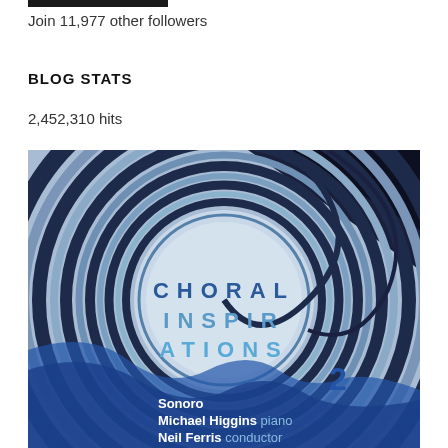Join 11,977 other followers
BLOG STATS
2,452,310 hits
[Figure (photo): Album cover for 'Choral Inspirations 2' featuring Sonoro, Michael Higgins piano, Neil Ferris conductor. Blue and dark swirling circular design with text overlaid.]